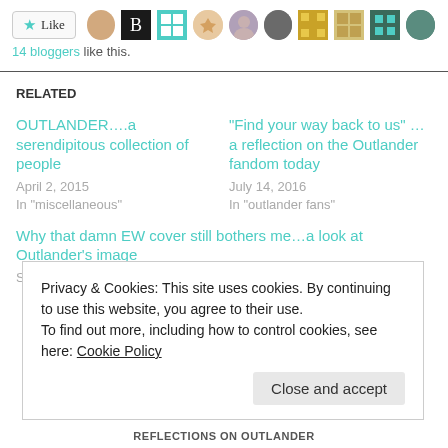Like | 14 bloggers like this.
RELATED
OUTLANDER....a serendipitous collection of people
April 2, 2015
In "miscellaneous"
“Find your way back to us” ...a reflection on the Outlander fandom today
July 14, 2016
In "outlander fans"
Why that damn EW cover still bothers me...a look at Outlander’s image
September 28, 2016
Privacy & Cookies: This site uses cookies. By continuing to use this website, you agree to their use.
To find out more, including how to control cookies, see here: Cookie Policy
Close and accept
REFLECTIONS ON OUTLANDER